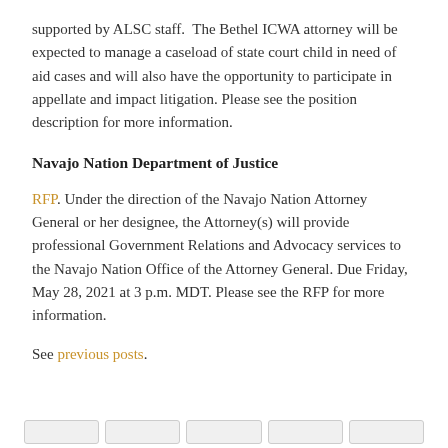supported by ALSC staff.  The Bethel ICWA attorney will be expected to manage a caseload of state court child in need of aid cases and will also have the opportunity to participate in appellate and impact litigation. Please see the position description for more information.
Navajo Nation Department of Justice
RFP. Under the direction of the Navajo Nation Attorney General or her designee, the Attorney(s) will provide professional Government Relations and Advocacy services to the Navajo Nation Office of the Attorney General. Due Friday, May 28, 2021 at 3 p.m. MDT. Please see the RFP for more information.
See previous posts.